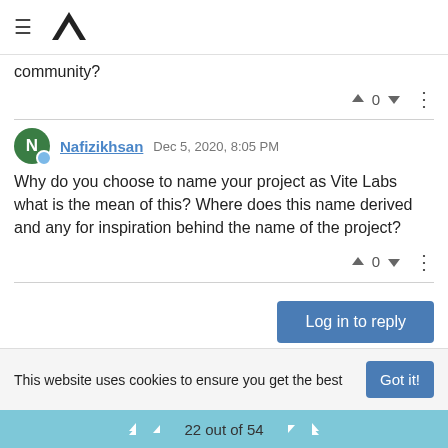Vite Labs community forum header with hamburger menu and logo
community?
0
Nafizikhsan Dec 5, 2020, 8:05 PM
Why do you choose to name your project as Vite Labs what is the mean of this? Where does this name derived and any for inspiration behind the name of the project?
0
Log in to reply
This website uses cookies to ensure you get the best
Got it!
22 out of 54